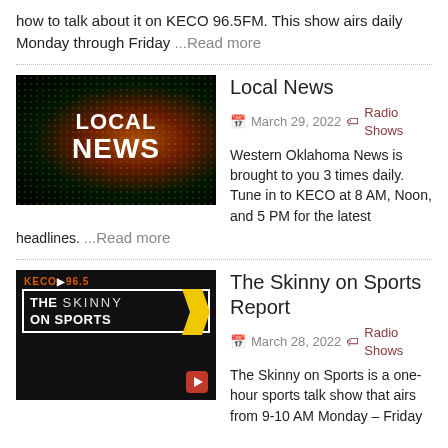how to talk about it on KECO 96.5FM. This show airs daily Monday through Friday ...Read more
[Figure (photo): Thumbnail image for Local News article showing a TV screen with 'LOCAL NEWS' text in bold white letters on a dark background with orange/red radial bokeh lighting effect.]
Local News
March 29, 2022  Radio Shows
Western Oklahoma News is brought to you 3 times daily. Tune in to KECO at 8 AM, Noon, and 5 PM for the latest headlines. ...Read more
[Figure (photo): Thumbnail image for The Skinny on Sports Report article showing a dark background with 'KECO 96.5' in orange text and a white-bordered box containing 'THE SKINNY ON SPORTS' with a yellow arrow/chevron graphic.]
The Skinny on Sports Report
March 28, 2022  Radio Shows
The Skinny on Sports is a one-hour sports talk show that airs from 9-10 AM Monday – Friday